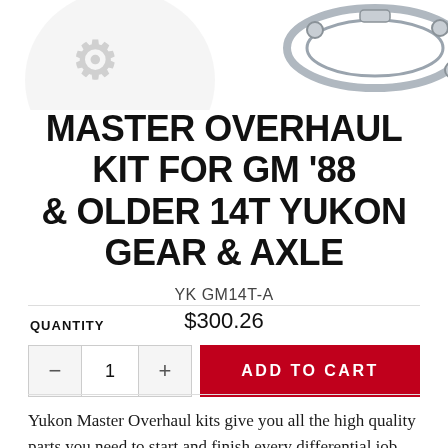[Figure (photo): Product photo showing gaskets and components for the Master Overhaul Kit, partially visible at top of page]
MASTER OVERHAUL KIT FOR GM '88 & OLDER 14T YUKON GEAR & AXLE
YK GM14T-A
$300.26
QUANTITY
ADD TO CART
Yukon Master Overhaul kits give you all the high quality parts you need to start and finish every differential job. Yukon offers more tailor-made kits than any other manufacturer in the industry to meet your specific